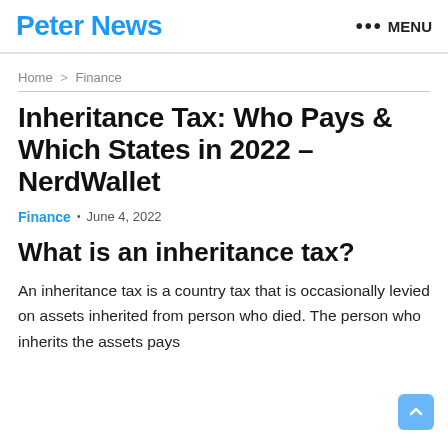Peter News  ••• MENU
Home > Finance
Inheritance Tax: Who Pays & Which States in 2022 – NerdWallet
Finance • June 4, 2022
What is an inheritance tax?
An inheritance tax is a country tax that is occasionally levied on assets inherited from person who died. The person who inherits the assets pays